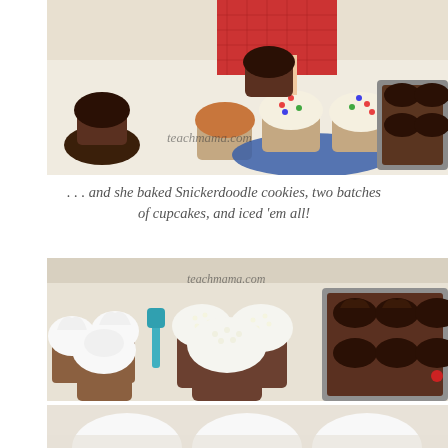[Figure (photo): Child in red gingham apron decorating cupcakes on a white table. Multiple cupcakes visible including chocolate frosted ones and vanilla cupcakes with colorful sprinkles on a blue plate. A pan of chocolate cupcakes is on the right. Watermark reads teachmama.com.]
. . . and she baked Snickerdoodle cookies, two batches of cupcakes, and iced 'em all!
[Figure (photo): Multiple trays of iced cupcakes. Left side shows white frosted cupcakes, center shows cupcakes with white pearl sprinkles, right side shows chocolate frosted cupcakes in a baking pan. Watermark reads teachmama.com.]
[Figure (photo): Close-up partial view of white frosted cupcakes, cut off at bottom of page.]